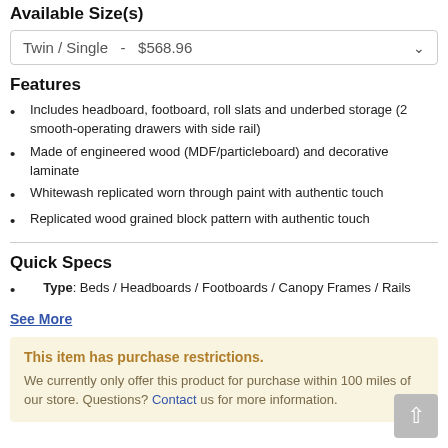Available Size(s)
Twin / Single  -  $568.96
Features
Includes headboard, footboard, roll slats and underbed storage (2 smooth-operating drawers with side rail)
Made of engineered wood (MDF/particleboard) and decorative laminate
Whitewash replicated worn through paint with authentic touch
Replicated wood grained block pattern with authentic touch
Quick Specs
Type: Beds / Headboards / Footboards / Canopy Frames / Rails
See More
This item has purchase restrictions. We currently only offer this product for purchase within 100 miles of our store. Questions? Contact us for more information.